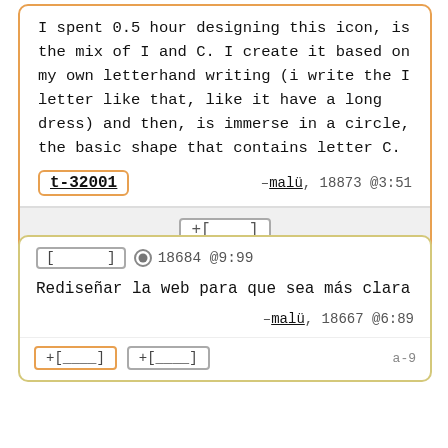I spent 0.5 hour designing this icon, is the mix of I and C. I create it based on my own letterhand writing (i write the I letter like that, like it have a long dress) and then, is immerse in a circle, the basic shape that contains letter C.
t-32001  –malü, 18873 @3:51
+[____]
[      ]  18684 @9:99
Rediseñar la web para que sea más clara
–malü, 18667 @6:89
+[____]  +[____]  a-9